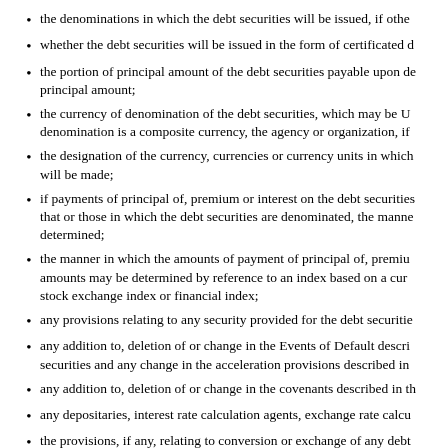the denominations in which the debt securities will be issued, if other than denominations of $1,000 and integral multiples thereof;
whether the debt securities will be issued in the form of certificated debt securities or global securities;
the portion of principal amount of the debt securities payable upon declaration of acceleration of the maturity, if other than the principal amount;
the currency of denomination of the debt securities, which may be U.S. dollars or a foreign currency, and if such denomination is a composite currency, the agency or organization, if any, responsible for overseeing such composite currency;
the designation of the currency, currencies or currency units in which payment of principal of, premium and interest on the debt securities will be made;
if payments of principal of, premium or interest on the debt securities are to be made in one or more currencies or currency units other than that or those in which the debt securities are denominated, the manner in which the exchange rate with respect to these payments will be determined;
the manner in which the amounts of payment of principal of, premium, if any, or interest on the debt securities will be determined, if these amounts may be determined by reference to an index based on a currency or currencies or by reference to a commodity, commodity index, stock exchange index or financial index;
any provisions relating to any security provided for the debt securities;
any addition to, deletion of or change in the Events of Default described in this prospectus or in the indenture with respect to the debt securities and any change in the acceleration provisions described in this prospectus or in the indenture;
any addition to, deletion of or change in the covenants described in this prospectus or in the indenture;
any depositaries, interest rate calculation agents, exchange rate calculation agents or other agents with respect to the debt securities;
the provisions, if any, relating to conversion or exchange of any debt securities, including if applicable, the conversion or exchange price and period, provisions as to whether conversion or exchange will be mandatory, at the option of the holders or at our option, the events requiring an adjustment of the conversion or exchange price and provisions affecting conversion or exchange;